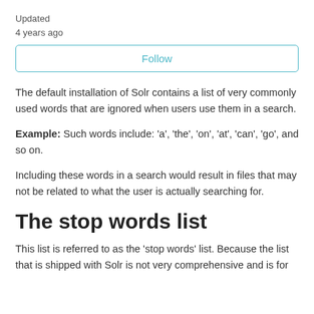Updated
4 years ago
Follow
The default installation of Solr contains a list of very commonly used words that are ignored when users use them in a search.
Example: Such words include: 'a', 'the', 'on', 'at', 'can', 'go', and so on.
Including these words in a search would result in files that may not be related to what the user is actually searching for.
The stop words list
This list is referred to as the 'stop words' list. Because the list that is shipped with Solr is not very comprehensive and is for